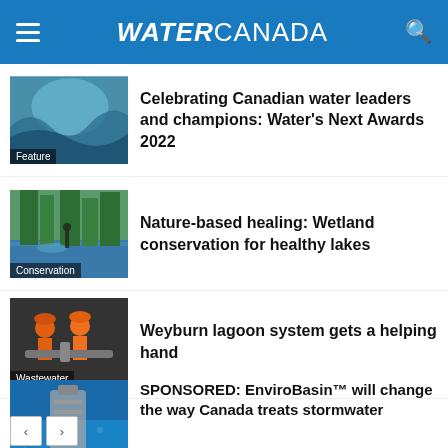WATER CANADA
Celebrating Canadian water leaders and champions: Water's Next Awards 2022
Nature-based healing: Wetland conservation for healthy lakes
Weyburn lagoon system gets a helping hand
SPONSORED: EnviroBasin™ will change the way Canada treats stormwater